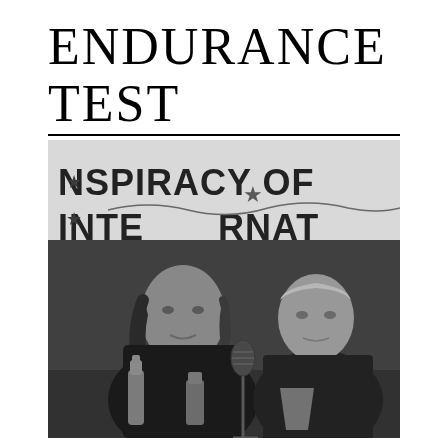ENDURANCE TEST
[Figure (photo): Black and white photograph of two men seated at a table with microphones and bottles in front of them. A banner in the background reads 'NSPIRACY OF... INTER...' (partially visible). Both men are wearing dark clothing. The man on the left has long dark hair; the man on the right has shorter lighter hair.]